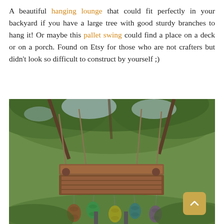A beautiful hanging lounge that could fit perfectly in your backyard if you have a large tree with good sturdy branches to hang it! Or maybe this pallet swing could find a place on a deck or on a porch. Found on Etsy for those who are not crafters but didn't look so difficult to construct by yourself ;)
[Figure (photo): Outdoor hanging pallet swing lounge suspended by ropes from tree branches, with colorful hanging lanterns (red, green, yellow, blue, purple) underneath the wooden pallet platform. Lush green trees visible in the background. A tan/gold scroll-up button with a caret icon visible in the bottom right corner of the image.]